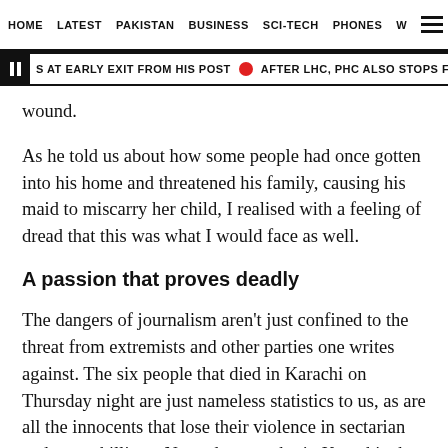HOME  LATEST  PAKISTAN  BUSINESS  SCI-TECH  PHONES  W ☰
| S AT EARLY EXIT FROM HIS POST  🔴  AFTER LHC, PHC ALSO STOPS FCA COLLECTION
wound.
As he told us about how some people had once gotten into his home and threatened his family, causing his maid to miscarry her child, I realised with a feeling of dread that this was what I would face as well.
A passion that proves deadly
The dangers of journalism aren't just confined to the threat from extremists and other parties one writes against. The six people that died in Karachi on Thursday night are just nameless statistics to us, as are all the innocents that lose their violence in sectarian and target killings. Not a day goes by in Karachi when something violent does not